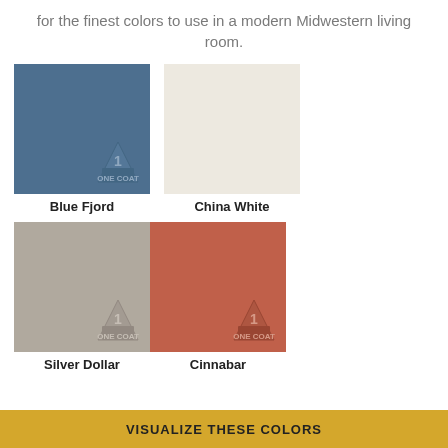for the finest colors to use in a modern Midwestern living room.
[Figure (illustration): Blue Fjord paint color swatch - a medium blue-grey square with One Coat badge]
Blue Fjord
[Figure (illustration): China White paint color swatch - an off-white/cream square]
China White
[Figure (illustration): Silver Dollar paint color swatch - a warm grey square with One Coat badge]
Silver Dollar
[Figure (illustration): Cinnabar paint color swatch - a terracotta/rust red square with One Coat badge]
Cinnabar
VISUALIZE THESE COLORS